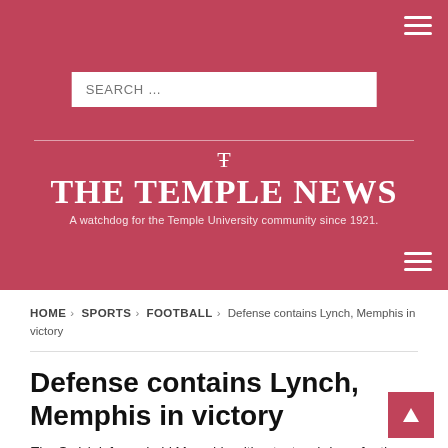[Figure (logo): The Temple News logo with search bar and hamburger menu on a red background. Includes title 'THE TEMPLE NEWS' and subtitle 'A watchdog for the Temple University community since 1921.']
HOME > SPORTS > FOOTBALL > Defense contains Lynch, Memphis in victory
Defense contains Lynch, Memphis in victory
The Owls' defense held Memphis without a touchdown for the first time since Sept. 27, 2014 in the team's 31...